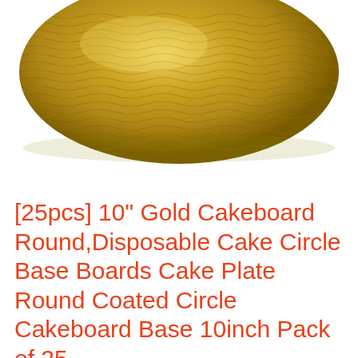[Figure (photo): A gold braided/woven round cakeboard or decorative rope coil, photographed from above on a white background. The object is circular with a textured gold weave pattern.]
[25pcs] 10" Gold Cakeboard Round,Disposable Cake Circle Base Boards Cake Plate Round Coated Circle Cakeboard Base 10inch Pack of 25